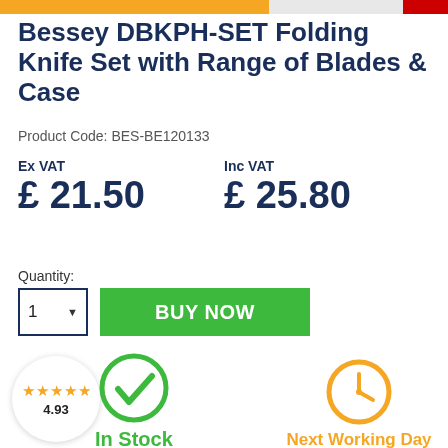Bessey DBKPH-SET Folding Knife Set with Range of Blades & Case
Product Code: BES-BE120133
Ex VAT £ 21.50
Inc VAT £ 25.80
Quantity:
1 BUY NOW
4.93 In Stock
Next Working Day Delivery*